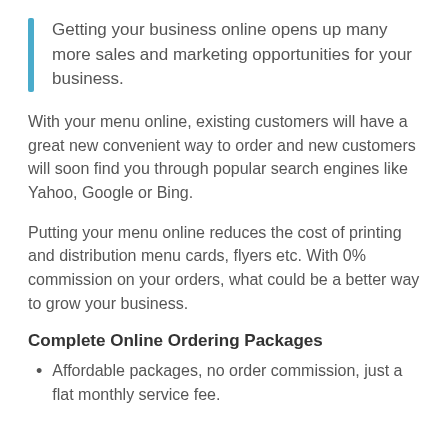Getting your business online opens up many more sales and marketing opportunities for your business.
With your menu online, existing customers will have a great new convenient way to order and new customers will soon find you through popular search engines like Yahoo, Google or Bing.
Putting your menu online reduces the cost of printing and distribution menu cards, flyers etc. With 0% commission on your orders, what could be a better way to grow your business.
Complete Online Ordering Packages
Affordable packages, no order commission, just a flat monthly service fee.